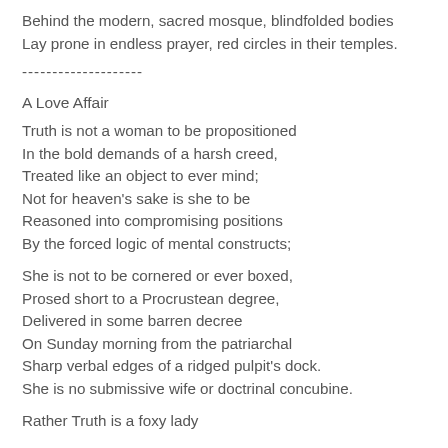Behind the modern, sacred mosque, blindfolded bodies
Lay prone in endless prayer, red circles in their temples.
--------------------
A Love Affair
Truth is not a woman to be propositioned
In the bold demands of a harsh creed,
Treated like an object to ever mind;
Not for heaven's sake is she to be
Reasoned into compromising positions
By the forced logic of mental constructs;
She is not to be cornered or ever boxed,
Prosed short to a Procrustean degree,
Delivered in some barren decree
On Sunday morning from the patriarchal
Sharp verbal edges of a ridged pulpit's dock.
She is no submissive wife or doctrinal concubine.
Rather Truth is a foxy lady